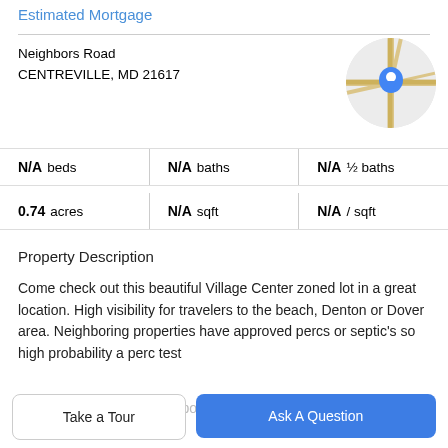Estimated Mortgage
Neighbors Road
CENTREVILLE, MD 21617
[Figure (map): Circular map thumbnail showing a road intersection with a blue location pin marker in the center, beige/yellow road lines on gray background.]
| N/A beds | N/A baths | N/A ½ baths |
| 0.74 acres | N/A sqft | N/A / sqft |
Property Description
Come check out this beautiful Village Center zoned lot in a great location. High visibility for travelers to the beach, Denton or Dover area. Neighboring properties have approved percs or septic's so high probability a perc test will be approved. Great opportunity to purchase...